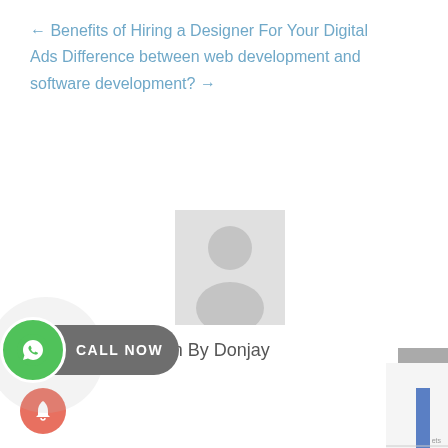← Benefits of Hiring a Designer For Your Digital Ads Difference between web development and software development? →
[Figure (illustration): Generic user avatar placeholder - gray silhouette of a person on light gray background]
Written By Donjay
[Figure (infographic): WhatsApp Call Now button widget with green WhatsApp icon and dark gray pill-shaped button labeled CALL NOW, surrounded by a light circular ring]
[Figure (other): Scroll to top button - gray square with upward chevron arrow]
[Figure (other): Notification bell button - coral/orange circle with bell icon]
[Figure (bar-chart): Partial bar chart visible at bottom right edge of page]